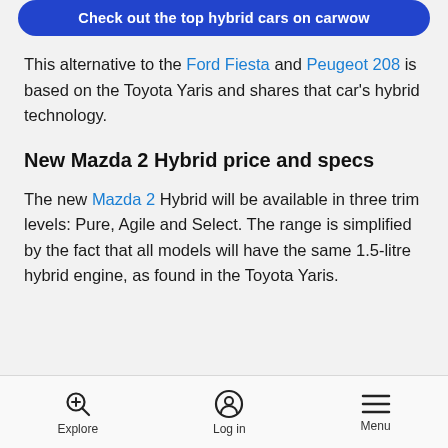[Figure (other): Blue rounded banner button with white text reading 'Check out the top hybrid cars on carwow']
This alternative to the Ford Fiesta and Peugeot 208 is based on the Toyota Yaris and shares that car's hybrid technology.
New Mazda 2 Hybrid price and specs
The new Mazda 2 Hybrid will be available in three trim levels: Pure, Agile and Select. The range is simplified by the fact that all models will have the same 1.5-litre hybrid engine, as found in the Toyota Yaris.
Explore | Log in | Menu